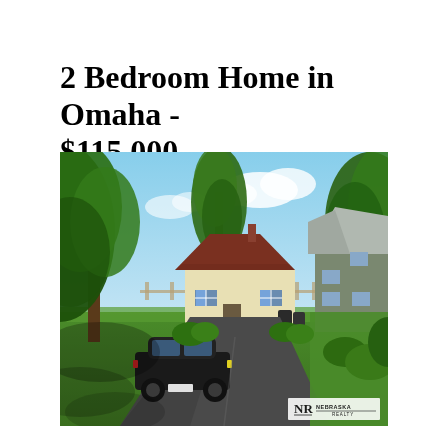2 Bedroom Home in Omaha - $115,000
[Figure (photo): Exterior photo of a small two-story yellow/cream house with a dark roof, surrounded by large green trees. A black car is parked in a paved driveway in the foreground. A green two-story house is visible to the right. The yard is green grass under a partly cloudy blue sky. Nebraska Realty logo watermark in bottom right corner.]